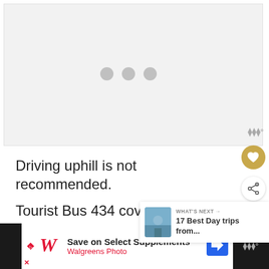[Figure (other): Loading placeholder area with three grey dots indicating an image is loading]
Driving uphill is not recommended.
Tourist Bus 434 covers the followi
[Figure (other): What's Next panel showing a thumbnail of a scenic view with text: WHAT'S NEXT → 17 Best Day trips from...]
[Figure (other): Advertisement bar: Save on Select Supplements - Walgreens Photo, with Walgreens logo and directional arrow icon]